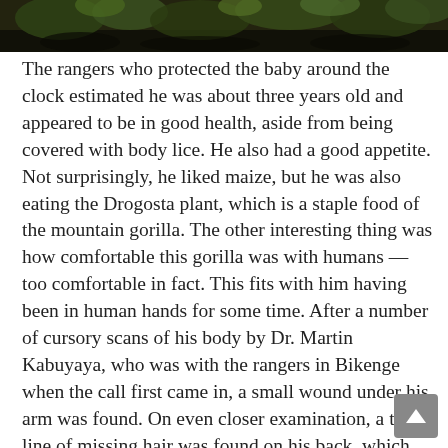[Figure (photo): Partial view of foliage and dark ground, likely a forest or jungle floor scene. Image is cropped showing only the bottom strip of the photo.]
The rangers who protected the baby around the clock estimated he was about three years old and appeared to be in good health, aside from being covered with body lice. He also had a good appetite. Not surprisingly, he liked maize, but he was also eating the Drogosta plant, which is a staple food of the mountain gorilla. The other interesting thing was how comfortable this gorilla was with humans — too comfortable in fact. This fits with him having been in human hands for some time. After a number of cursory scans of his body by Dr. Martin Kabuyaya, who was with the rangers in Bikenge when the call first came in, a small wound under his arm was found. On even closer examination, a thin line of missing hair was found on his back, which suggested to everyone that this gorilla had spent a lot of time tied up with a rope. Again, another clue this baby was taken by animal traffickers. Our best guess is they abandoned